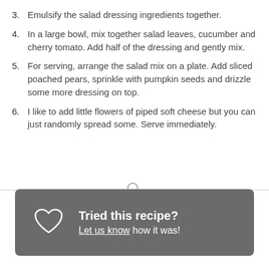3. Emulsify the salad dressing ingredients together.
4. In a large bowl, mix together salad leaves, cucumber and cherry tomato. Add half of the dressing and gently mix.
5. For serving, arrange the salad mix on a plate. Add sliced poached pears, sprinkle with pumpkin seeds and drizzle some more dressing on top.
6. I like to add little flowers of piped soft cheese but you can just randomly spread some. Serve immediately.
Tried this recipe? Let us know how it was!